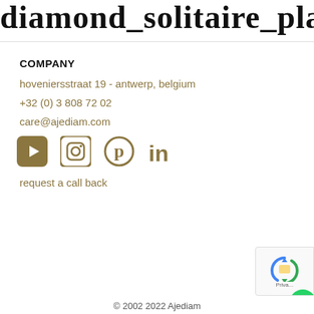diamond_solitaire_platinu
COMPANY
hoveniersstraat 19 - antwerp, belgium
+32 (0) 3 808 72 02
care@ajediam.com
[Figure (other): Social media icons: YouTube, Instagram, Pinterest, LinkedIn in gold/brown color]
request a call back
[Figure (other): reCAPTCHA badge and WhatsApp button in bottom right corner]
© 2002 2022 Ajediam